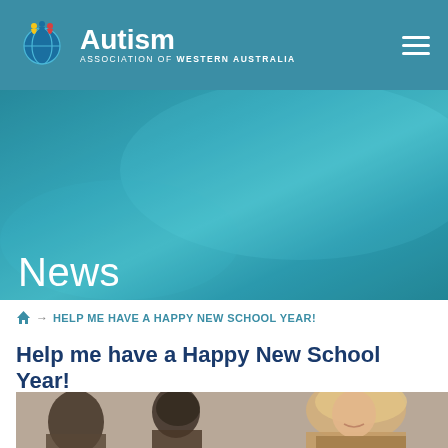Autism Association of Western Australia
[Figure (photo): Teal/blue abstract hero banner background with the word News overlaid in white]
News
🏠 → HELP ME HAVE A HAPPY NEW SCHOOL YEAR!
Help me have a Happy New School Year!
[Figure (photo): Photo of children and a smiling blonde female teacher leaning over a desk together]